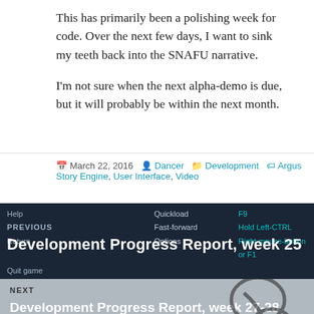This has primarily been a polishing week for code. Over the next few days, I want to sink my teeth back into the SNAFU narrative.
I'm not sure when the next alpha-demo is due, but it will probably be within the next month.
March 22, 2016  Dancer  Development  Argus Story Engine, User Interface, Video
[Figure (screenshot): Dark blue game menu screenshot showing keyboard shortcut labels: Help, Quickload F9, Fast-forward Hold Left-CTRL, Return, Options Right mouse-button or F1, Quit game]
PREVIOUS
Development Progress Report, week 25
NEXT
Development Progress Report, week 27-28
Proudly powered by WordPress